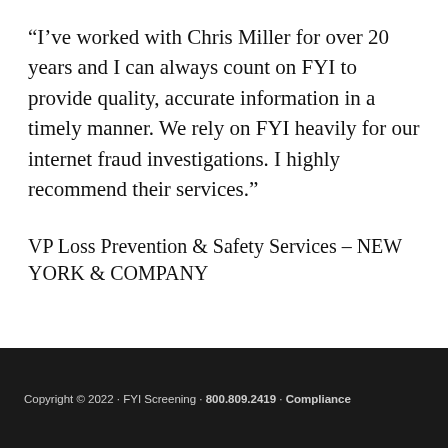“I’ve worked with Chris Miller for over 20 years and I can always count on FYI to provide quality, accurate information in a timely manner. We rely on FYI heavily for our internet fraud investigations. I highly recommend their services.”
VP Loss Prevention & Safety Services – NEW YORK & COMPANY
Copyright © 2022 · FYI Screening · 800.809.2419 · Compliance